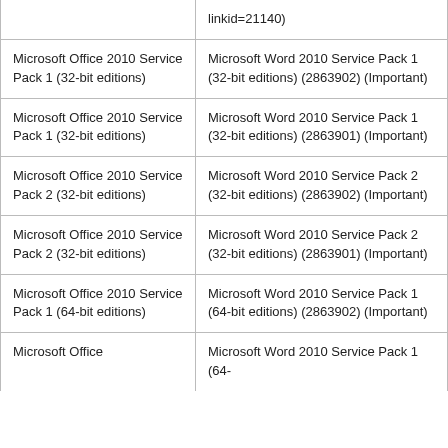|  | linkid=21140) |
| Microsoft Office 2010 Service Pack 1 (32-bit editions) | Microsoft Word 2010 Service Pack 1 (32-bit editions) (2863902) (Important) |
| Microsoft Office 2010 Service Pack 1 (32-bit editions) | Microsoft Word 2010 Service Pack 1 (32-bit editions) (2863901) (Important) |
| Microsoft Office 2010 Service Pack 2 (32-bit editions) | Microsoft Word 2010 Service Pack 2 (32-bit editions) (2863902) (Important) |
| Microsoft Office 2010 Service Pack 2 (32-bit editions) | Microsoft Word 2010 Service Pack 2 (32-bit editions) (2863901) (Important) |
| Microsoft Office 2010 Service Pack 1 (64-bit editions) | Microsoft Word 2010 Service Pack 1 (64-bit editions) (2863902) (Important) |
| Microsoft Office | Microsoft Word 2010 Service Pack 1 (64- |